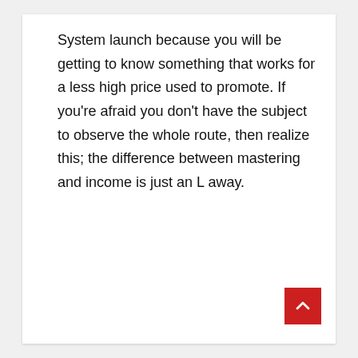System launch because you will be getting to know something that works for a less high price used to promote. If you're afraid you don't have the subject to observe the whole route, then realize this; the difference between mastering and income is just an L away.
[Figure (other): Red square button with a white upward-pointing chevron arrow, positioned at bottom-right corner of the page.]